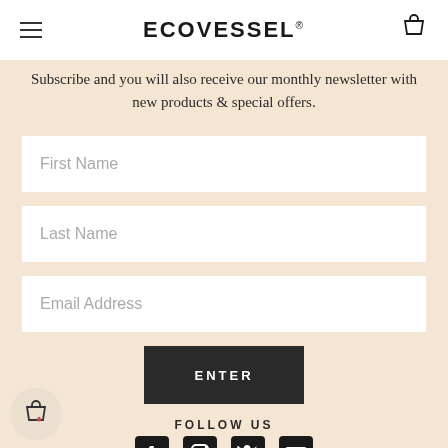ECOVESSEL®
Subscribe and you will also receive our monthly newsletter with new products & special offers.
[Figure (screenshot): First Name input field]
[Figure (screenshot): Last Name input field]
[Figure (screenshot): Email Address input field]
[Figure (screenshot): ENTER button]
FOLLOW US
[Figure (illustration): Social media icons: Facebook, Instagram, Twitter, YouTube]